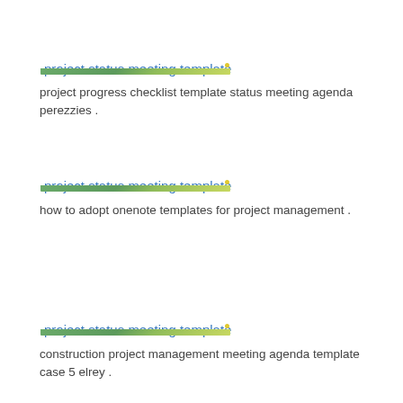[Figure (other): Broken image icon for project status meeting template link 1]
project status meeting template
project progress checklist template status meeting agenda perezzies .
[Figure (other): Broken image icon for project status meeting template link 2]
project status meeting template
how to adopt onenote templates for project management .
[Figure (other): Broken image icon for project status meeting template link 3]
project status meeting template
construction project management meeting agenda template case 5 elrey .